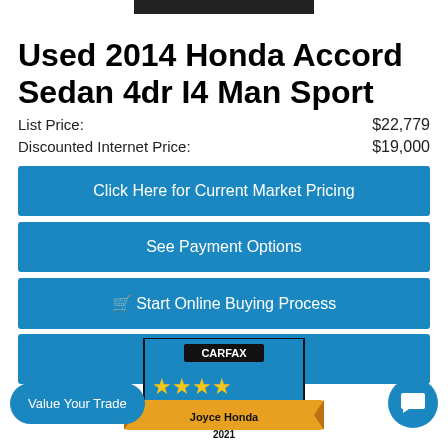Used 2014 Honda Accord Sedan 4dr I4 Man Sport
List Price: $22,779
Discounted Internet Price: $19,000
Click Here for Current Market Pricing
See Payment Options
🛒 Start Online Buying Process
Click To Call
[Figure (logo): CARFAX 4-star badge showing Joyce Honda 2021 TOP-RATED dealer award with gold stars on blue shield background with orange/gold ribbon banner]
Value Your Trade